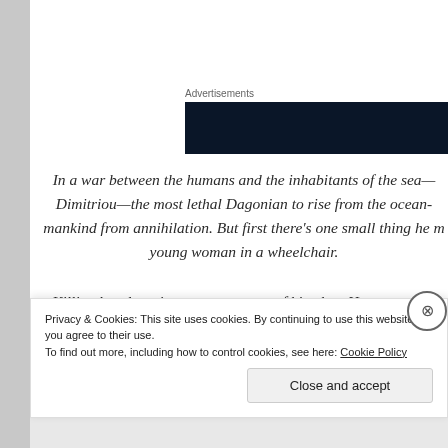Advertisements
[Figure (other): Dark navy blue advertisement banner rectangle]
In a war between the humans and the inhabitants of the sea— Dimitriou—the most lethal Dagonian to rise from the ocean- mankind from annihilation. But first there's one small thing he m young woman in a wheelchair.
Killing her doesn't start out as part of his plan. He entrenches world. Aligning himself with his enemies, he prepares to s
Privacy & Cookies: This site uses cookies. By continuing to use this website, you agree to their use.
To find out more, including how to control cookies, see here: Cookie Policy
Close and accept